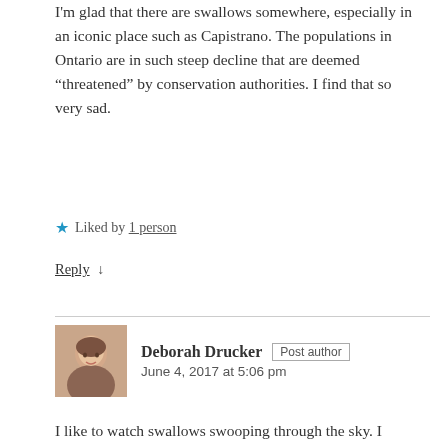I'm glad that there are swallows somewhere, especially in an iconic place such as Capistrano. The populations in Ontario are in such steep decline that are deemed “threatened” by conservation authorities. I find that so very sad.
★ Liked by 1 person
Reply ↓
Deborah Drucker Post author
June 4, 2017 at 5:06 pm
I like to watch swallows swooping through the sky. I wonder what is causing Ontario to lose its swallows. Are they losing habitat? It is sad to lose species. Many things are under stress these days. I don’t see as many birds around our yard and worry about them, too.